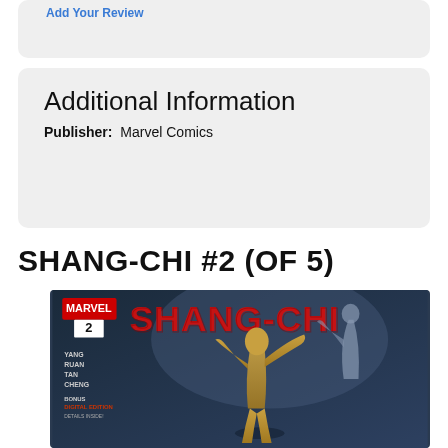Add Your Review
Additional Information
Publisher:  Marvel Comics
SHANG-CHI #2 (OF 5)
[Figure (photo): Comic book cover of Shang-Chi #2. Shows the Marvel logo with number 2, large red SHANG-CHI title text. Credits: Yang, Ruan, Tan, Cheng. Bonus Digital Edition. Features a martial arts character in fighting pose against a dark background.]